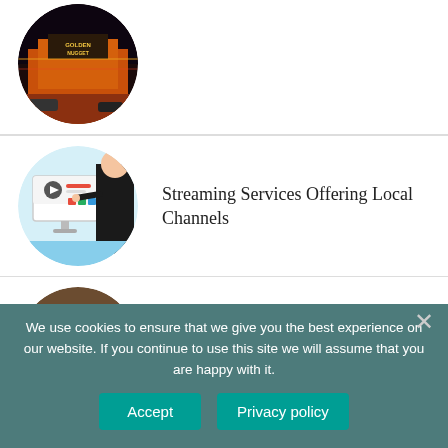[Figure (illustration): Circular cropped image of a casino building (Golden Nugget) at night with neon lights]
[Figure (illustration): Circular image of a person in suit pointing at a streaming/TV interface on a monitor]
Streaming Services Offering Local Channels
[Figure (photo): Circular top-down photo of a person studying/writing at a desk with coffee, notebook, and glasses]
Pros and cons of online courses you need to be...
We use cookies to ensure that we give you the best experience on our website. If you continue to use this site we will assume that you are happy with it.